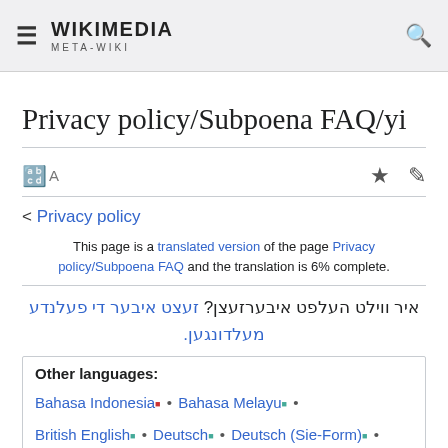WIKIMEDIA META-WIKI
Privacy policy/Subpoena FAQ/yi
< Privacy policy
This page is a translated version of the page Privacy policy/Subpoena FAQ and the translation is 6% complete.
איר וויל­ט העלפ­ט איבערזעצן? זעצט איבער די פעלנדע מעלדונגען.
Other languages: Bahasa Indonesia • Bahasa Melayu • British English • Deutsch • Deutsch (Sie-Form) • English • Esperanto • Lëtzebuergesch • Nederlands • Tiếng Việt • Türkce • dansk